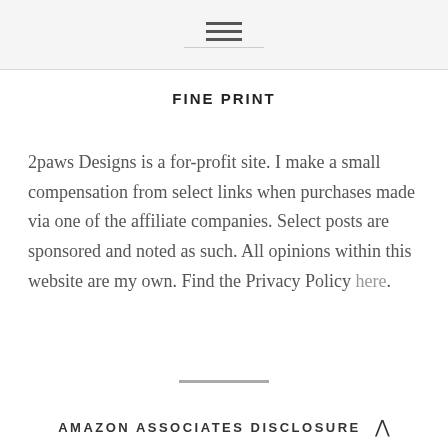☰
FINE PRINT
2paws Designs is a for-profit site. I make a small compensation from select links when purchases made via one of the affiliate companies. Select posts are sponsored and noted as such. All opinions within this website are my own. Find the Privacy Policy here.
AMAZON ASSOCIATES DISCLOSURE